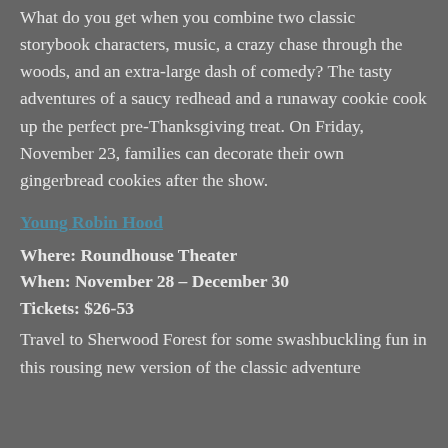What do you get when you combine two classic storybook characters, music, a crazy chase through the woods, and an extra-large dash of comedy? The tasty adventures of a saucy redhead and a runaway cookie cook up the perfect pre-Thanksgiving treat. On Friday, November 23, families can decorate their own gingerbread cookies after the show.
Young Robin Hood
Where: Roundhouse Theater
When: November 28 – December 30
Tickets: $26-53
Travel to Sherwood Forest for some swashbuckling fun in this rousing new version of the classic adventure